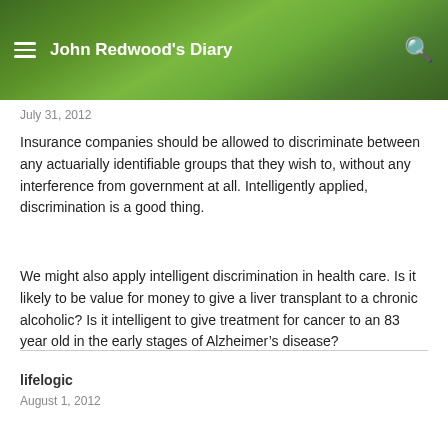John Redwood's Diary
July 31, 2012
Insurance companies should be allowed to discriminate between any actuarially identifiable groups that they wish to, without any interference from government at all. Intelligently applied, discrimination is a good thing.
We might also apply intelligent discrimination in health care. Is it likely to be value for money to give a liver transplant to a chronic alcoholic? Is it intelligent to give treatment for cancer to an 83 year old in the early stages of Alzheimer’s disease?
lifelogic
August 1, 2012